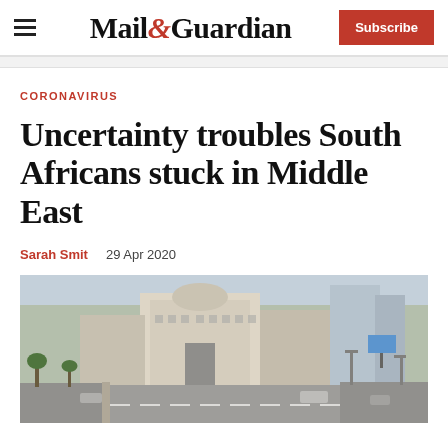Mail&Guardian | Subscribe
CORONAVIRUS
Uncertainty troubles South Africans stuck in Middle East
Sarah Smit   29 Apr 2020
[Figure (photo): Aerial view of a Middle Eastern city street with buildings, palm trees, and a wide road with vehicles]